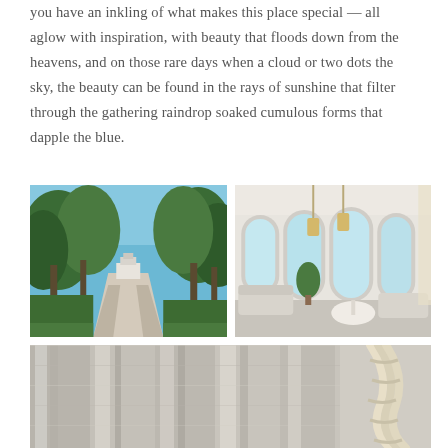you have an inkling of what makes this place special — all aglow with inspiration, with beauty that floods down from the heavens, and on those rare days when a cloud or two dots the sky, the beauty can be found in the rays of sunshine that filter through the gathering raindrop soaked cumulous forms that dapple the blue.
[Figure (photo): A gravel driveway lined with tall trees leading to a white building/estate, photographed on a sunny day with blue sky.]
[Figure (photo): An elegant interior room with arched windows and doorways, light furniture, white walls, and hanging pendant lights.]
[Figure (photo): Close-up of light grey/white linen curtain fabric with soft folds, and a twisted rope tie-back on the right side.]